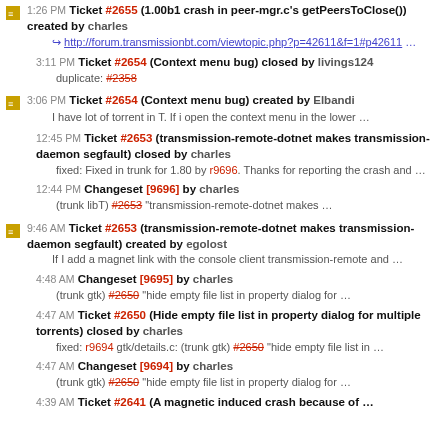1:26 PM Ticket #2655 (1.00b1 crash in peer-mgr.c's getPeersToClose()) created by charles
http://forum.transmissionbt.com/viewtopic.php?p=42611&f=1#p42611 ...
3:11 PM Ticket #2654 (Context menu bug) closed by livings124 duplicate: #2358
3:06 PM Ticket #2654 (Context menu bug) created by Elbandi I have lot of torrent in T. If i open the context menu in the lower ...
12:45 PM Ticket #2653 (transmission-remote-dotnet makes transmission-daemon segfault) closed by charles fixed: Fixed in trunk for 1.80 by r9696. Thanks for reporting the crash and ...
12:44 PM Changeset [9696] by charles (trunk libT) #2653 "transmission-remote-dotnet makes ...
9:46 AM Ticket #2653 (transmission-remote-dotnet makes transmission-daemon segfault) created by egolost If I add a magnet link with the console client transmission-remote and ...
4:48 AM Changeset [9695] by charles (trunk gtk) #2650 "hide empty file list in property dialog for ...
4:47 AM Ticket #2650 (Hide empty file list in property dialog for multiple torrents) closed by charles fixed: r9694 gtk/details.c: (trunk gtk) #2650 "hide empty file list in ...
4:47 AM Changeset [9694] by charles (trunk gtk) #2650 "hide empty file list in property dialog for ...
4:39 AM Ticket #2641 (A magnetic induced crash because of ...